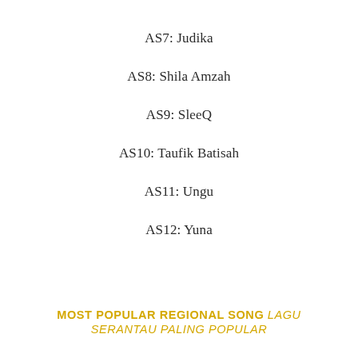AS7: Judika
AS8: Shila Amzah
AS9: SleeQ
AS10: Taufik Batisah
AS11: Ungu
AS12: Yuna
MOST POPULAR REGIONAL SONG LAGU SERANTAU PALING POPULAR